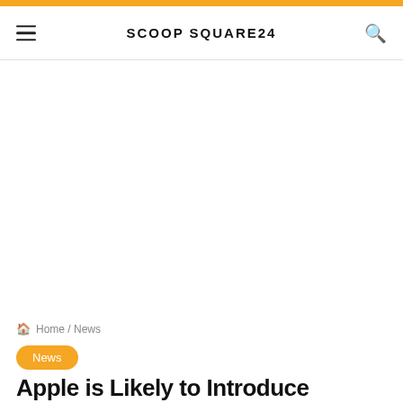SCOOP SQUARE24
[Figure (other): Advertisement/empty white space area below the header navigation]
Home / News
News
Apple is Likely to Introduce